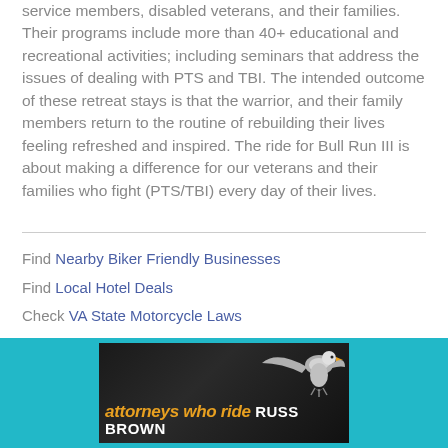service members, disabled veterans, and their families. Their programs include more than 40+ educational and recreational activities; including seminars that address the issues of dealing with PTS and TBI. The intended outcome of these retreat stays is that the warrior, and their family members return to the routine of rebuilding their lives feeling refreshed and inspired. The ride for Bull Run III is about making a difference for our veterans and their families who fight (PTS/TBI) every day of their lives.
Find Nearby Biker Friendly Businesses
Find Local Hotel Deals
Check VA State Motorcycle Laws
[Figure (advertisement): Russ Brown attorneys who ride advertisement banner on teal background with eagle graphic and orange/gold italic text]